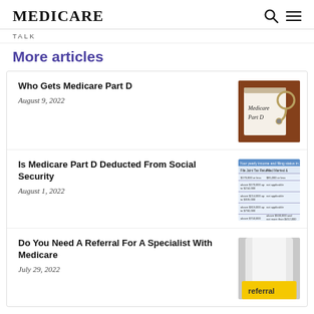MEDICARE
TALK
More articles
Who Gets Medicare Part D
August 9, 2022
[Figure (photo): Stethoscope resting on a clipboard with text 'Medicare Part D' written on paper]
Is Medicare Part D Deducted From Social Security
August 1, 2022
[Figure (table-as-image): Table showing income and filing status thresholds for Medicare Part D in 2019]
Do You Need A Referral For A Specialist With Medicare
July 29, 2022
[Figure (photo): Close-up photo of a person in medical coat with a yellow 'referral' label visible]